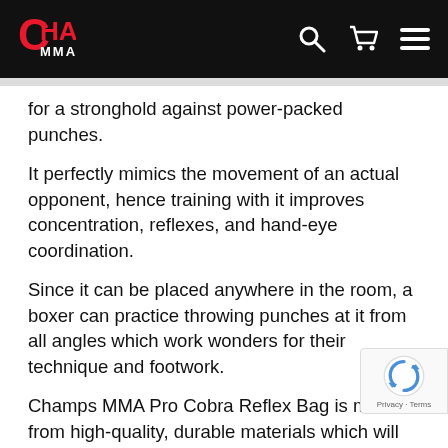Champs MMA
for a stronghold against power-packed punches.
It perfectly mimics the movement of an actual opponent, hence training with it improves concentration, reflexes, and hand-eye coordination.
Since it can be placed anywhere in the room, a boxer can practice throwing punches at it from all angles which work wonders for their technique and footwork.
Champs MMA Pro Cobra Reflex Bag is made from high-quality, durable materials which will last you a lifetime.